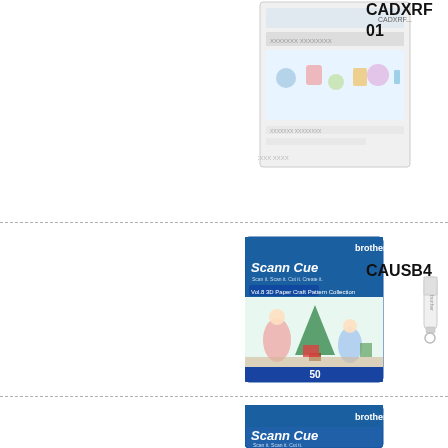[Figure (photo): Product photo: CADXRF item - a card/sheet with designs, top of page]
CADXRF
01
[Figure (photo): Product photo: ScanNCut 3D Paper Craft Pattern Collection Vol.8 box with USB stick - CAUSB4]
CAUSB4
[Figure (photo): Product photo: ScanNCut Home Deco Pattern Collection box with USB stick - CAUSB3]
CAUSB3
[Figure (photo): Product photo: ScanNCut box, partial view at bottom of page]